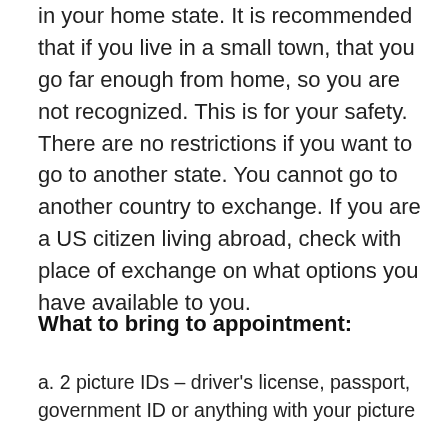in your home state. It is recommended that if you live in a small town, that you go far enough from home, so you are not recognized. This is for your safety. There are no restrictions if you want to go to another state. You cannot go to another country to exchange. If you are a US citizen living abroad, check with place of exchange on what options you have available to you.
What to bring to appointment:
a. 2 picture IDs – driver's license, passport, government ID or anything with your picture